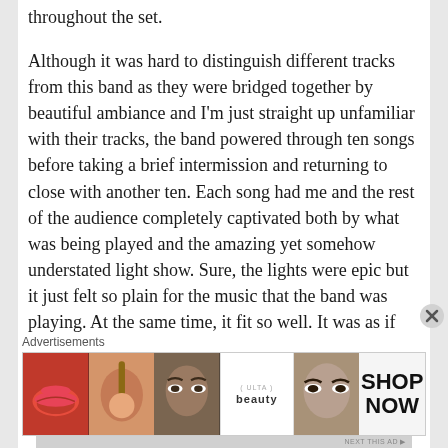throughout the set.

Although it was hard to distinguish different tracks from this band as they were bridged together by beautiful ambiance and I'm just straight up unfamiliar with their tracks, the band powered through ten songs before taking a brief intermission and returning to close with another ten. Each song had me and the rest of the audience completely captivated both by what was being played and the amazing yet somehow understated light show. Sure, the lights were epic but it just felt so plain for the music that the band was playing. At the same time, it fit so well. It was as if the lights and the images playing on the screens behind the
[Figure (other): Advertisements banner showing makeup/cosmetics faces and ULTA beauty brand with SHOP NOW call to action]